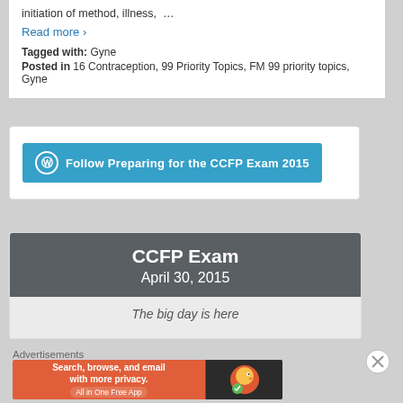initiation of method, illness, …
Read more ›
Tagged with: Gyne
Posted in 16 Contraception, 99 Priority Topics, FM 99 priority topics, Gyne
[Figure (screenshot): Follow button for 'Preparing for the CCFP Exam 2015' WordPress blog, teal/blue colored button with WordPress logo]
[Figure (screenshot): CCFP Exam card showing 'CCFP Exam' title and 'April 30, 2015' date on dark gray header with 'The big day is here' text below]
Advertisements
[Figure (screenshot): DuckDuckGo advertisement banner: 'Search, browse, and email with more privacy. All in One Free App' on orange background with DuckDuckGo logo on dark right side]